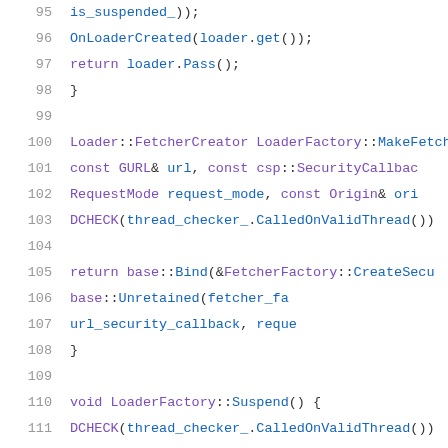[Figure (screenshot): Source code snippet in C++ showing lines 95-116 of a file, with syntax highlighting. Lines include OnLoaderCreated, return loader.Pass(), Loader::FetcherCreator LoaderFactory::MakeFetcher, DCHECK, return base::Bind, void LoaderFactory::Suspend, DCHECK calls, is_suspended_ = true, resource_provider_ = NULL.]